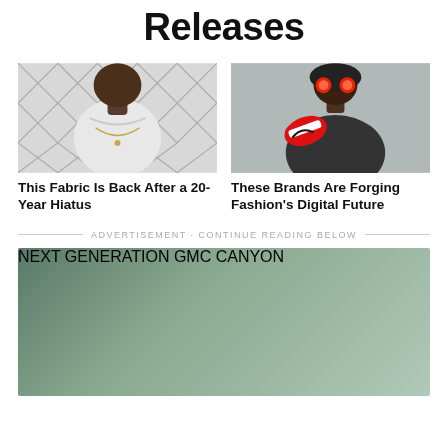Releases
[Figure (photo): Person wearing white t-shirt and necklace near chain-link fence]
This Fabric Is Back After a 20-Year Hiatus
[Figure (photo): Person wearing helmet with glowing red eyes holding red and white Nike Air Jordan sneakers]
These Brands Are Forging Fashion's Digital Future
ADVERTISEMENT · CONTINUE READING BELOW
[Figure (photo): GMC Canyon advertisement banner showing red pickup truck with text NEXT GENERATION GMC CANYON]